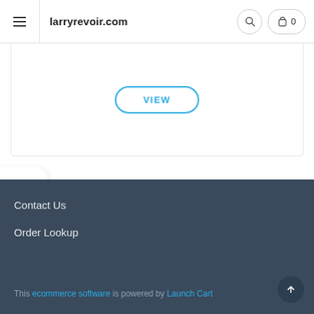larryrevoir.com
[Figure (screenshot): VIEW button with cyan outline on white card area]
[Figure (other): Layout/table icon floating button on left edge]
Contact Us
Order Lookup
This ecommerce software is powered by Launch Cart